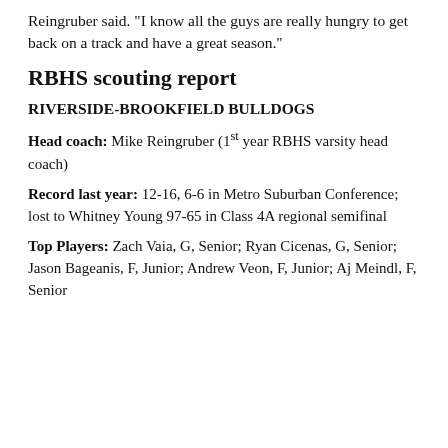Reingruber said. "I know all the guys are really hungry to get back on a track and have a great season."
RBHS scouting report
RIVERSIDE-BROOKFIELD BULLDOGS
Head coach: Mike Reingruber (1st year RBHS varsity head coach)
Record last year: 12-16, 6-6 in Metro Suburban Conference; lost to Whitney Young 97-65 in Class 4A regional semifinal
Top Players: Zach Vaia, G, Senior; Ryan Cicenas, G, Senior; Jason Bageanis, F, Junior; Andrew Veon, F, Junior; Aj Meindl, F, Senior